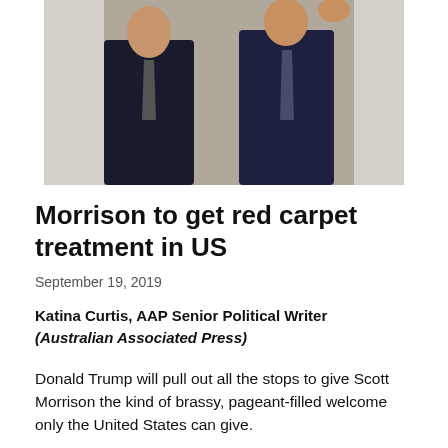[Figure (photo): Photograph of two men in dark suits, one gesturing with hands raised, indoor setting]
Morrison to get red carpet treatment in US
September 19, 2019
Katina Curtis, AAP Senior Political Writer (Australian Associated Press)
Donald Trump will pull out all the stops to give Scott Morrison the kind of brassy, pageant-filled welcome only the United States can give.
The US president will host the prime minister in Washington DC this week for formal meetings and